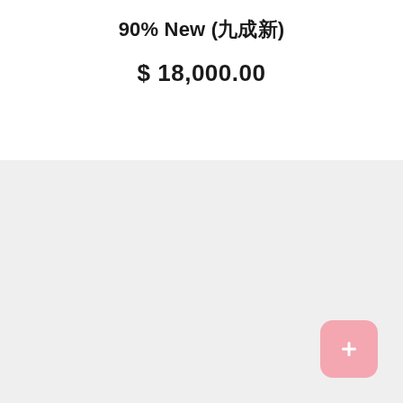90% New (九成新)
$ 18,000.00
[Figure (other): Pink rounded square button with a white icon in the bottom-right corner of a light gray background section]